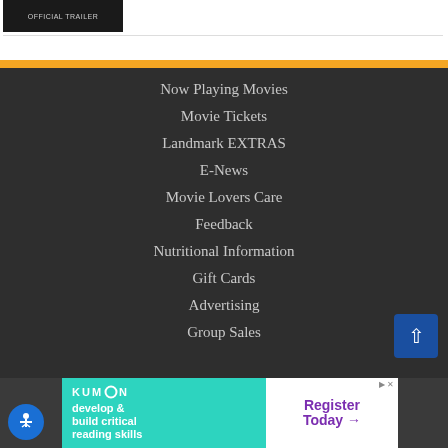[Figure (screenshot): Thumbnail of official trailer in dark background]
Now Playing Movies
Movie Tickets
Landmark EXTRAS
E-News
Movie Lovers Care
Feedback
Nutritional Information
Gift Cards
Advertising
Group Sales
[Figure (advertisement): Kumon advertisement: develop & build critical reading skills. Register Today.]